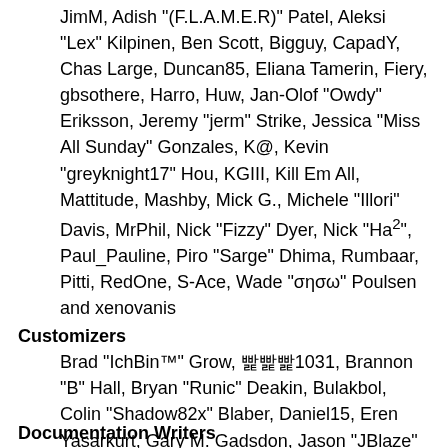JimM, Adish "(F.L.A.M.E.R)" Patel, Aleksi "Lex" Kilpinen, Ben Scott, Bigguy, CapadY, Chas Large, Duncan85, Eliana Tamerin, Fiery, gbsothere, Harro, Huw, Jan-Olof "Owdy" Eriksson, Jeremy "jerm" Strike, Jessica "Miss All Sunday" Gonzales, K@, Kevin "greyknight17" Hou, KGIII, Kill Em All, Mattitude, Mashby, Mick G., Michele "Illori" Davis, MrPhil, Nick "Fizzy" Dyer, Nick "Ha²", Paul_Pauline, Piro "Sarge" Dhima, Rumbaar, Pitti, RedOne, S-Ace, Wade "σησω" Poulsen and xenovanis
Customizers
Brad "IchBin™" Grow, 빭빭빭1031, Brannon "B" Hall, Bryan "Runic" Deakin, Bulakbol, Colin "Shadow82x" Blaber, Daniel15, Eren Yasarkurt, Gary M. Gadsdon, Jason "JBlaze" Clemons, Jerry, Jonathan "vbgamer45" Valentin, Kays, Killer Possum, Kirby, Matt "SlammedDime" Zuba, Matthew "Labradoodle-360" Kerle, Nibogo, Niko, Peter "Arantor" Spicer, snork13, Spuds, Steven "Fustrate" Hoffman and Joey "Tyrsson" Smith
Documentation Writers